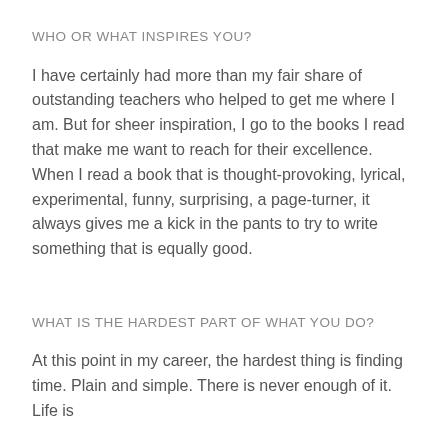WHO OR WHAT INSPIRES YOU?
I have certainly had more than my fair share of outstanding teachers who helped to get me where I am. But for sheer inspiration, I go to the books I read that make me want to reach for their excellence. When I read a book that is thought-provoking, lyrical, experimental, funny, surprising, a page-turner, it always gives me a kick in the pants to try to write something that is equally good.
WHAT IS THE HARDEST PART OF WHAT YOU DO?
At this point in my career, the hardest thing is finding time. Plain and simple. There is never enough of it. Life is